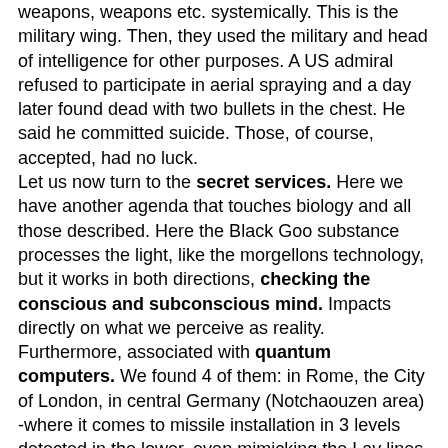weapons, weapons etc. systemically. This is the military wing. Then, they used the military and head of intelligence for other purposes. A US admiral refused to participate in aerial spraying and a day later found dead with two bullets in the chest. He said he committed suicide. Those, of course, accepted, had no luck.
Let us now turn to the secret services. Here we have another agenda that touches biology and all those described. Here the Black Goo substance processes the light, like the morgellons technology, but it works in both directions, checking the conscious and subconscious mind. Impacts directly on what we perceive as reality.
Furthermore, associated with quantum computers. We found 4 of them: in Rome, the City of London, in central Germany (Notchaouzen area) -where it comes to missile installation in 3 levels detected in the lower, even mimicking the Lay lines. Here, they used huge tubes Black Goo, associated with computers running neuro-language programs (neurologistics). So there you are fine, you feel suddenly feelings of revenge against the other.
It is now a disclaimer on ...